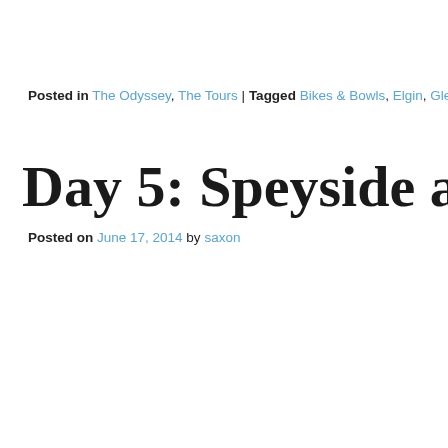Posted in The Odyssey, The Tours | Tagged Bikes & Bowls, Elgin, Glendronach, Glenglassaugh
Day 5: Speyside and Sp…
Posted on June 17, 2014 by saxon